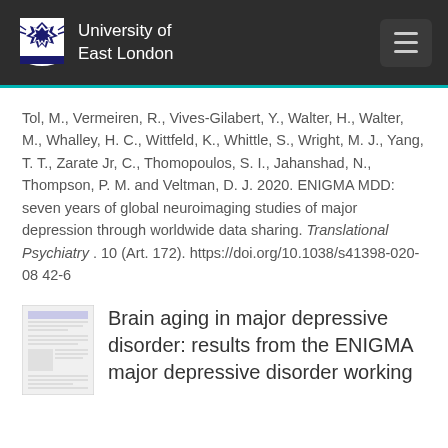University of East London
Tol, M., Vermeiren, R., Vives-Gilabert, Y., Walter, H., Walter, M., Whalley, H. C., Wittfeld, K., Whittle, S., Wright, M. J., Yang, T. T., Zarate Jr, C., Thomopoulos, S. I., Jahanshad, N., Thompson, P. M. and Veltman, D. J. 2020. ENIGMA MDD: seven years of global neuroimaging studies of major depression through worldwide data sharing. Translational Psychiatry . 10 (Art. 172). https://doi.org/10.1038/s41398-020-0842-6
[Figure (other): Thumbnail image of an academic paper document]
Brain aging in major depressive disorder: results from the ENIGMA major depressive disorder working